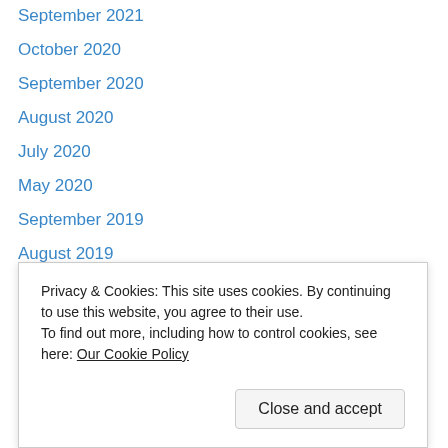September 2021
October 2020
September 2020
August 2020
July 2020
May 2020
September 2019
August 2019
July 2019
June 2019
May 2019
April 2019
March 2019
Privacy & Cookies: This site uses cookies. By continuing to use this website, you agree to their use. To find out more, including how to control cookies, see here: Our Cookie Policy
May 2018